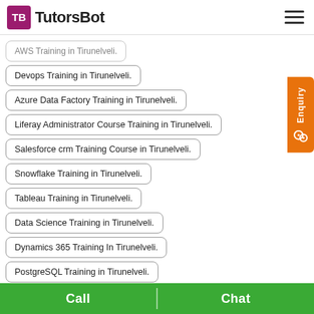TutorsBot
AWS Training in Tirunelveli.
Devops Training in Tirunelveli.
Azure Data Factory Training in Tirunelveli.
Liferay Administrator Course Training in Tirunelveli.
Salesforce crm Training Course in Tirunelveli.
Snowflake Training in Tirunelveli.
Tableau Training in Tirunelveli.
Data Science Training in Tirunelveli.
Dynamics 365 Training In Tirunelveli.
PostgreSQL Training in Tirunelveli.
Call  Chat